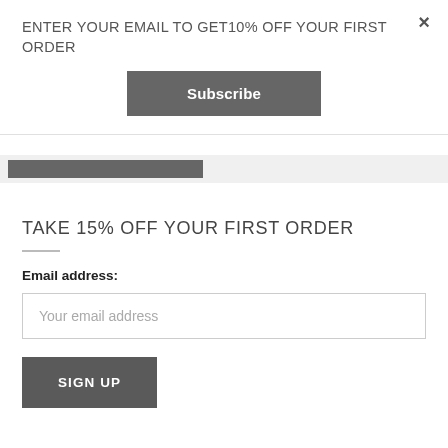ENTER YOUR EMAIL TO GET10% OFF YOUR FIRST ORDER
Subscribe
TAKE 15% OFF YOUR FIRST ORDER
Email address:
Your email address
SIGN UP